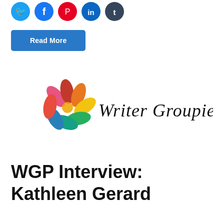[Figure (illustration): Row of five circular social media share icons: Twitter (cyan), Facebook (blue), Pinterest (red), LinkedIn (blue), Tumblr (dark blue/navy)]
Read More
[Figure (logo): Writer Groupie Podcast logo: colorful petal/seed shapes arranged in a flower pattern on the left, text 'Writer Groupie Podcast' in decorative serif font on the right]
WGP Interview: Kathleen Gerard